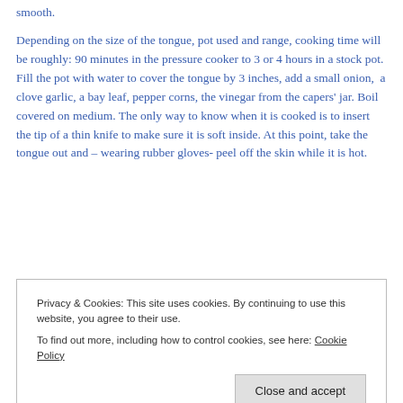smooth.
Depending on the size of the tongue, pot used and range, cooking time will be roughly: 90 minutes in the pressure cooker to 3 or 4 hours in a stock pot. Fill the pot with water to cover the tongue by 3 inches, add a small onion,  a clove garlic, a bay leaf, pepper corns, the vinegar from the capers' jar. Boil covered on medium. The only way to know when it is cooked is to insert the tip of a thin knife to make sure it is soft inside. At this point, take the tongue out and – wearing rubber gloves- peel off the skin while it is hot.
Privacy & Cookies: This site uses cookies. By continuing to use this website, you agree to their use.
To find out more, including how to control cookies, see here: Cookie Policy
the tongue and vegetables  , add 1 tbsp olive oil, 1 tbsp